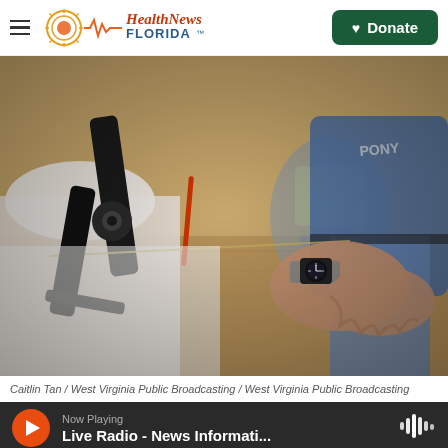Health News Florida — Donate
[Figure (photo): Close-up of two people's hands working with a prosthetic limb device on a table. One person wears a watch and jeans, the other wears a white short-sleeved shirt. An office chair is visible in the background. The setting appears to be a workshop or rehabilitation facility.]
Caitlin Tan / West Virginia Public Broadcasting / West Virginia Public Broadcasting
Now Playing
Live Radio - News Informati...